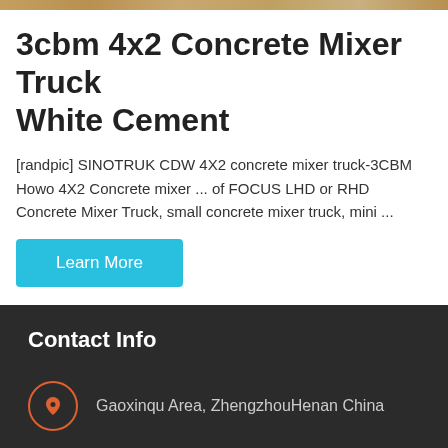[Figure (photo): Top image strip showing concrete mixer truck scene]
3cbm 4x2 Concrete Mixer Truck White Cement
[randpic] SINOTRUK CDW 4X2 concrete mixer truck-3CBM Howo 4X2 Concrete mixer ... of FOCUS LHD or RHD Concrete Mixer Truck, small concrete mixer truck, mini ...
Learn More
Contact Info
Gaoxinqu Area, ZhengzhouHenan China
sales@talenets.com
0086-371-60922096
Send Message | Inquiry Online